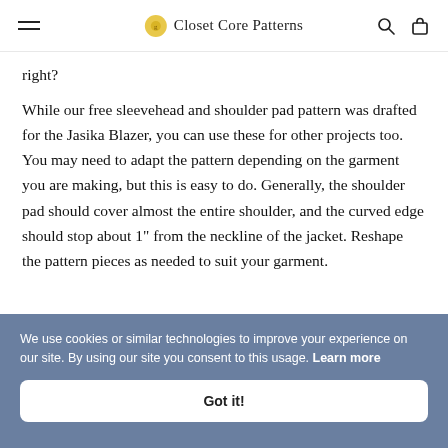Closet Core Patterns
right?
While our free sleevehead and shoulder pad pattern was drafted for the Jasika Blazer, you can use these for other projects too. You may need to adapt the pattern depending on the garment you are making, but this is easy to do. Generally, the shoulder pad should cover almost the entire shoulder, and the curved edge should stop about 1" from the neckline of the jacket. Reshape the pattern pieces as needed to suit your garment.
We use cookies or similar technologies to improve your experience on our site. By using our site you consent to this usage. Learn more
Got it!